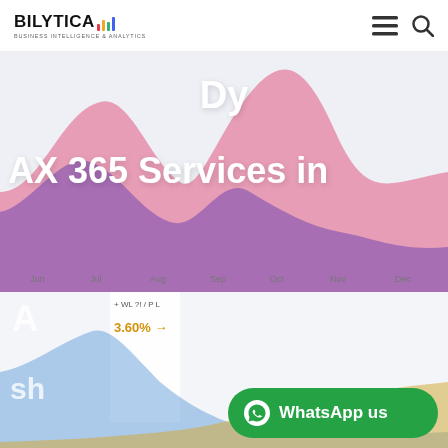[Figure (logo): Bilytica Business Intelligence & Analytics logo with colorful bar chart icon]
[Figure (other): Hamburger menu and search icons in header]
[Figure (area-chart): Area chart with purple and pink overlapping areas showing monthly data from Jun to Dec, partially visible behind text overlay]
Dy
AX 365 Services in
[Figure (area-chart): Bottom area chart with blue, gold/orange overlapping areas, partially visible with dashboard UI elements]
A
3.60% →
sh
[Figure (other): WhatsApp us green button with WhatsApp icon]